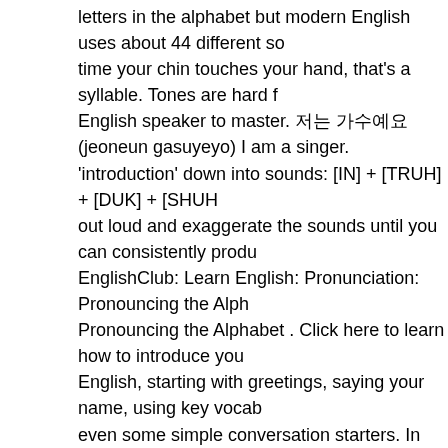letters in the alphabet but modern English uses about 44 different sounds. Every time your chin touches your hand, that's a syllable. Tones are hard for an English speaker to master. 저는 가수예요 (jeoneun gasuyeyo) I am a singer. Break 'introduction' down into sounds: [IN] + [TRUH] + [DUK] + [SHUH... out loud and exaggerate the sounds until you can consistently produce EnglishClub: Learn English: Pronunciation: Pronouncing the Alphabet. Pronouncing the Alphabet . Click here to learn how to introduce yourself in English, starting with greetings, saying your name, using key vocabulary, and even some simple conversation starters. In this lesson the Mongolian alphabet, vowel harmony, and vowel and consonant pronunciation combinations are introduced. How to pronounce introduction. The words bomb /bɒm/ and tomb /tum/ sound nothing alike.. HOW TO PRONOUNCE FOR BEGINNERS . This video is the introduction to the English Pronunciation series. Also, get a few fine points of pronunciation involving the soft sounds and signs. Click a county on either the map or the list to the right. If you examples of coarticulation include nasal aspiration and lateral aspiration. Nasal aspiration occurs when the 'd sound' /d/ links into the 'n sound' /n/. The tongue moves into the position of the /d/, but the sound is not completed with air... Pronunciation of introduction with 5 audio pronunciations, 38 synonyms, 12 meanings, 3 sentences and more for introduction. This week we're challenging ourselves to make something we may not know how to pronounce,